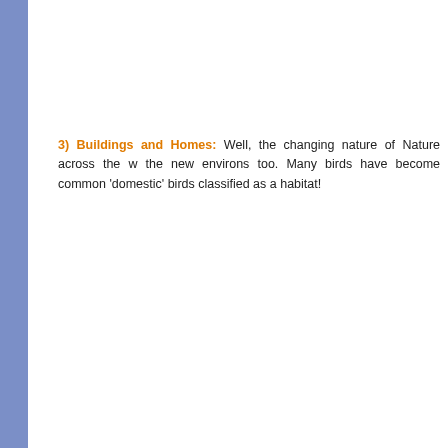3) Buildings and Homes: Well, the changing nature of Nature across the w the new environs too. Many birds have become common 'domestic' birds classified as a habitat!